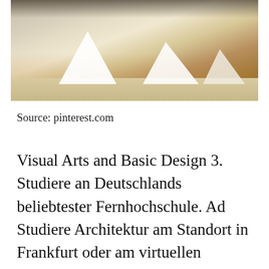[Figure (photo): Architectural paper/white model forms resembling triangular/pyramidal shapes arranged on a surface, lit with warm golden light from behind]
Source: pinterest.com
Visual Arts and Basic Design 3. Studiere an Deutschlands beliebtester Fernhochschule. Ad Studiere Architektur am Standort in Frankfurt oder am virtuellen Campus. 60 RESEARCH METHOD 61 Qualitative Study Creativity is the process by which imagination exists in the world. 150